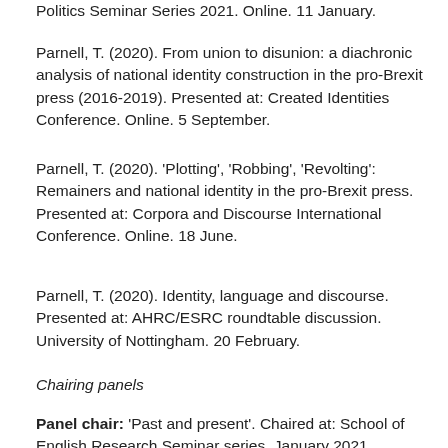Politics Seminar Series 2021. Online. 11 January.
Parnell, T. (2020). From union to disunion: a diachronic analysis of national identity construction in the pro-Brexit press (2016-2019). Presented at: Created Identities Conference. Online. 5 September.
Parnell, T. (2020). 'Plotting', 'Robbing', 'Revolting': Remainers and national identity in the pro-Brexit press. Presented at: Corpora and Discourse International Conference. Online. 18 June.
Parnell, T. (2020). Identity, language and discourse. Presented at: AHRC/ESRC roundtable discussion. University of Nottingham. 20 February.
Chairing panels
Panel chair: 'Past and present'. Chaired at: School of English Research Seminar series. January 2021.